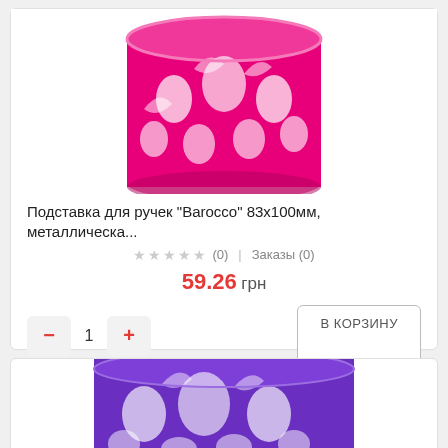[Figure (photo): Pink metallic decorative pen holder with floral cutout pattern, partially visible at top]
Подставка для ручек "Barocco" 83x100мм, металлическа...
★★★★★ (0) | Заказы (0)
59.26 грн
− 1 + В КОРЗИНУ
[Figure (photo): Purple metallic decorative pen holder with floral cutout pattern, second product card]